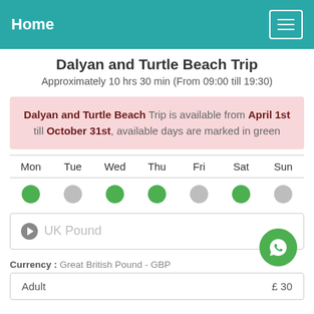Home
Dalyan and Turtle Beach Trip
Approximately 10 hrs 30 min (From 09:00 till 19:30)
Dalyan and Turtle Beach Trip is available from April 1st till October 31st, available days are marked in green
| Mon | Tue | Wed | Thu | Fri | Sat | Sun |
| --- | --- | --- | --- | --- | --- | --- |
| green | grey | green | green | grey | green | grey |
UK Pound
Currency : Great British Pound - GBP
|  |  |
| --- | --- |
| Adult | £ 30 |